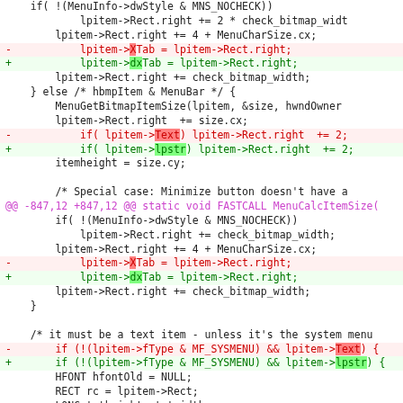[Figure (screenshot): Source code diff showing changes to MenuCalcItemSize function. Red lines show removed code (XTab renamed to dxTab, Text renamed to lpstr), green lines show additions. Purple lines show hunk headers. Black lines show context.]